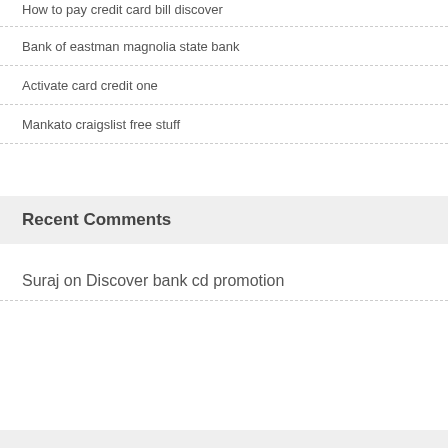How to pay credit card bill discover
Bank of eastman magnolia state bank
Activate card credit one
Mankato craigslist free stuff
Recent Comments
Suraj on Discover bank cd promotion